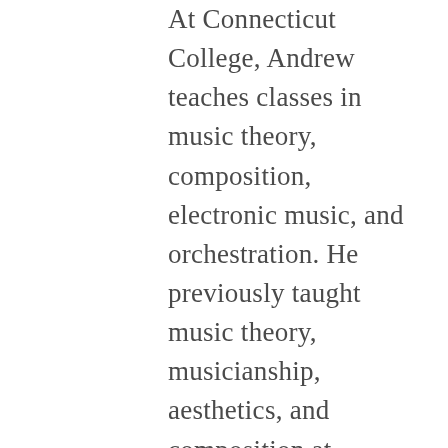At Connecticut College, Andrew teaches classes in music theory, composition, electronic music, and orchestration. He previously taught music theory, musicianship, aesthetics, and composition at Bennington College. In addition to his teaching at Conn. College, Andrew is Artist-in-Residence at Marlboro College, where he is a member of the Marlboro Slipstream Faculty Ensemble.